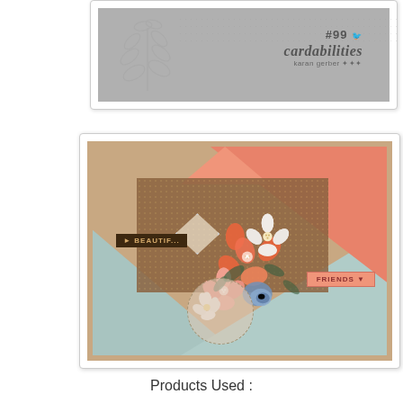[Figure (photo): Grayscale craft card with leaf/petal die-cut design, stamped with '#99 cardabilities karan gerber' logo]
[Figure (photo): Colorful handmade scrapbook card with coral/salmon and floral patterned papers arranged in triangular design, decorated with dimensional paper flowers in orange, white, and blue, with 'BEAUTIFUL' and 'FRIENDS' banner labels]
Products Used :